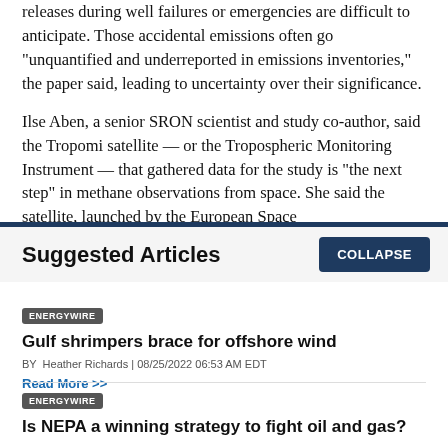releases during well failures or emergencies are difficult to anticipate. Those accidental emissions often go "unquantified and underreported in emissions inventories," the paper said, leading to uncertainty over their significance.
Ilse Aben, a senior SRON scientist and study co-author, said the Tropomi satellite — or the Tropospheric Monitoring Instrument — that gathered data for the study is "the next step" in methane observations from space. She said the satellite, launched by the European Space
Suggested Articles
COLLAPSE
ENERGYWIRE
Gulf shrimpers brace for offshore wind
BY Heather Richards | 08/25/2022 06:53 AM EDT
Read More >>
ENERGYWIRE
Is NEPA a winning strategy to fight oil and gas?